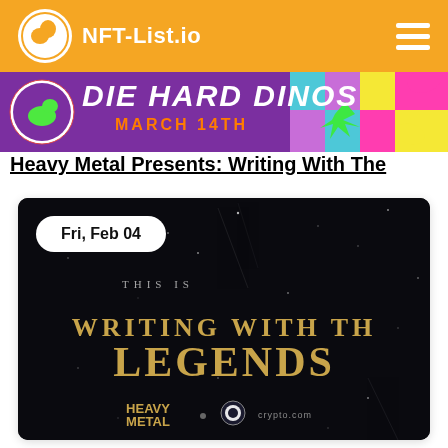NFT-List.io
[Figure (illustration): Die Hard Dinos banner with colorful paint splashes and text 'DIE HARD DINOS MARCH 14TH' on purple background]
Heavy Metal Presents: Writing With The
[Figure (photo): Dark promotional image with golden text reading 'THIS IS WRITING WITH THE LEGENDS' with Heavy Metal and crypto.com logos, showing date badge 'Fri, Feb 04']